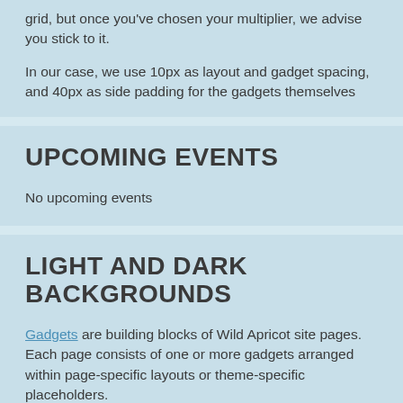grid, but once you've chosen your multiplier, we advise you stick to it.
In our case, we use 10px as layout and gadget spacing, and 40px as side padding for the gadgets themselves
UPCOMING EVENTS
No upcoming events
LIGHT AND DARK BACKGROUNDS
Gadgets are building blocks of Wild Apricot site pages. Each page consists of one or more gadgets arranged within page-specific layouts or theme-specific placeholders.
To help you set up your pages, this theme provides two theme styles for light and dark backgrounds. These styles have special typography that will make your gadget look good on the background of your choice.